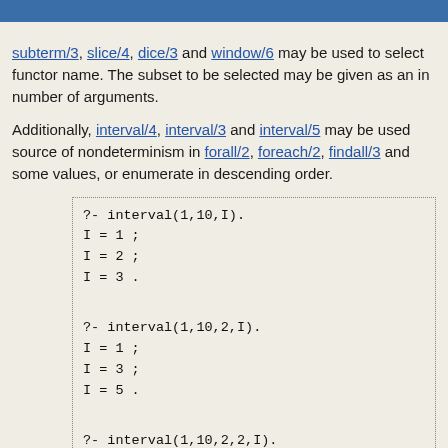Selecting from arguments
subterm/3, slice/4, dice/3 and window/6 may be used to select functor name. The subset to be selected may be given as an in number of arguments.
Additionally, interval/4, interval/3 and interval/5 may be used source of nondeterminism in forall/2, foreach/2, findall/3 and some values, or enumerate in descending order.
?- interval(1,10,I).
I = 1 ;
I = 2 ;
I = 3 .
?- interval(1,10,2,I).
I = 1 ;
I = 3 ;
I = 5 .
?- interval(1,10,2,2,I).
I = 1 ;
I = 1 ;